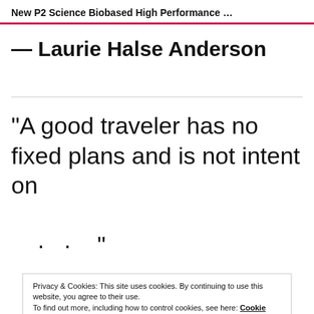New P2 Science Biobased High Performance …
— Laurie Halse Anderson
“A good traveler has no fixed plans and is not intent on · · ·”
Privacy & Cookies: This site uses cookies. By continuing to use this website, you agree to their use. To find out more, including how to control cookies, see here: Cookie Policy
“Don’t Gain The World &